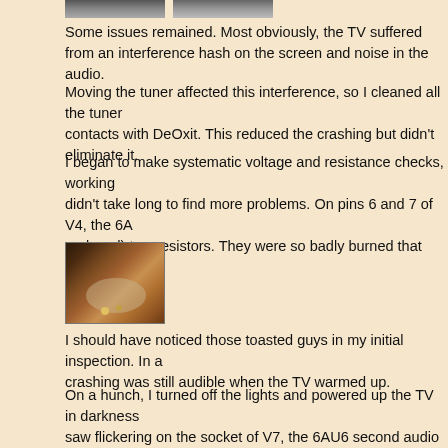[Figure (photo): Two small photographs at the top of the page (partially visible)]
Some issues remained. Most obviously, the TV suffered from an interference hash on the screen and noise in the audio.
Moving the tuner affected this interference, so I cleaned all the tuner contacts with DeOxit. This reduced the crashing but didn't eliminate it.
I began to make systematic voltage and resistance checks, working didn't take long to find more problems. On pins 6 and 7 of V4, the 6A replaced) two resistors. They were so badly burned that they fell into
[Figure (photo): A hand holding two small burned/charred resistors against a cluttered background]
I should have noticed those toasted guys in my initial inspection. In a crashing was still audible when the TV warmed up.
On a hunch, I turned off the lights and powered up the TV in darkness saw flickering on the socket of V7, the 6AU6 second audio IF amp.
I cleaned that socket with isopropyl alcohol, then probed around the looking for burned spots. Between pins 6 and 7, I dug out black, cha between the pins:
[Figure (photo): Close-up of a vacuum tube socket showing burned/charred material between pins 6 and 7]